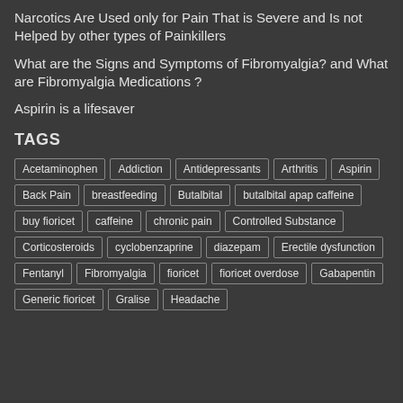Narcotics Are Used only for Pain That is Severe and Is not Helped by other types of Painkillers
What are the Signs and Symptoms of Fibromyalgia? and What are Fibromyalgia Medications ?
Aspirin is a lifesaver
TAGS
Acetaminophen, Addiction, Antidepressants, Arthritis, Aspirin, Back Pain, breastfeeding, Butalbital, butalbital apap caffeine, buy fioricet, caffeine, chronic pain, Controlled Substance, Corticosteroids, cyclobenzaprine, diazepam, Erectile dysfunction, Fentanyl, Fibromyalgia, fioricet, fioricet overdose, Gabapentin, Generic fioricet, Gralise, Headache